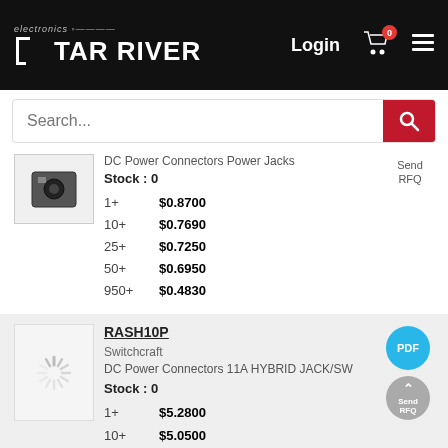STAR RIVER electronics - Login
Search...
DC Power Connectors Power Jacks
Stock : 0
1+ $0.8700
10+ $0.7690
25+ $0.7250
50+ $0.6950
950+ $0.4830
Send RFQ
RASH10P
Switchcraft
DC Power Connectors 11A HYBRID JACK/SW
Stock : 0
1+ $5.2800
10+ $5.0500
25+ $4.6400
PDF
Send RFQ